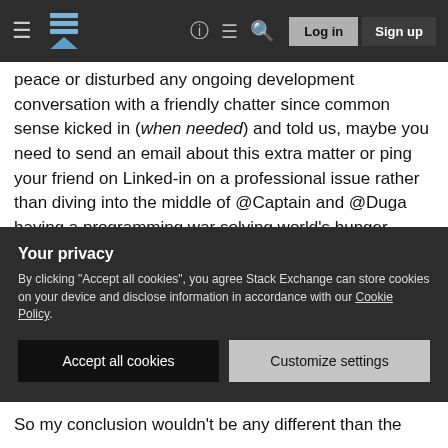Stack Exchange navigation bar with hamburger menu, logo, help, chat, search icons, Log in and Sign up buttons
peace or disturbed any ongoing development conversation with a friendly chatter since common sense kicked in (when needed) and told us, maybe you need to send an email about this extra matter or ping your friend on Linked-in on a professional issue rather than diving into the middle of @Captain and @Duga having a programming war solving world's hunger problem, putting Java solutions forward.
I honestly think, The 2nd Monitor wouldn't be part of my 2nd monitor real state if it doesn't have the rich development discussions and the friendly chatters.
Your privacy
By clicking "Accept all cookies", you agree Stack Exchange can store cookies on your device and disclose information in accordance with our Cookie Policy.
Accept all cookies
Customize settings
So my conclusion wouldn't be any different than the